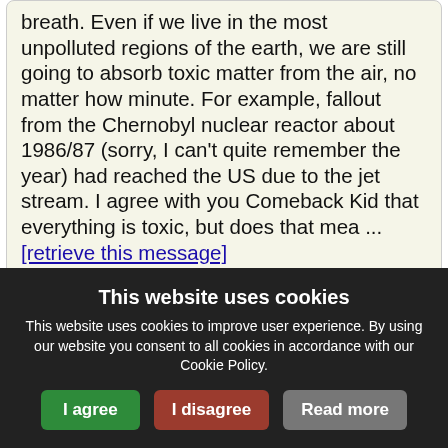breath. Even if we live in the most unpolluted regions of the earth, we are still going to absorb toxic matter from the air, no matter how minute. For example, fallout from the Chernobyl nuclear reactor about 1986/87 (sorry, I can't quite remember the year) had reached the US due to the jet stream. I agree with you Comeback Kid that everything is toxic, but does that mea ... [retrieve this message]
Re: what goes in after mercury removal
by Joe25   19 years ago   3,997   Amalgam Support
This website uses cookies
This website uses cookies to improve user experience. By using our website you consent to all cookies in accordance with our Cookie Policy.
I agree   I disagree   Read more